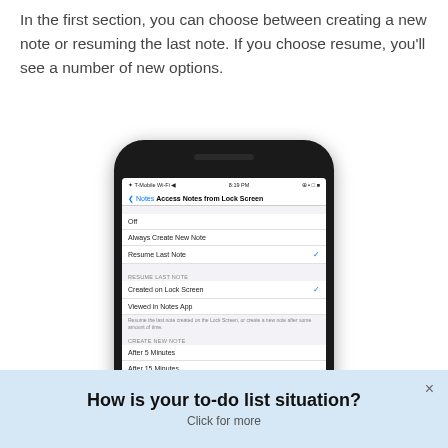In the first section, you can choose between creating a new note or resuming the last note. If you choose resume, you'll see a number of new options.
[Figure (screenshot): iPhone screenshot showing iOS Settings screen for 'Access Notes from Lock Screen' with options: Off, Always Create New Note, Resume Last Note (checked). Under 'Resume Last Note' section: Created on Lock Screen (checked), Viewed in Notes App. Under 'Create New Note' section: After 5 Minutes, After 15 Minutes, After 1 Hour, Once Daily, Never.]
How is your to-do list situation? Click for more